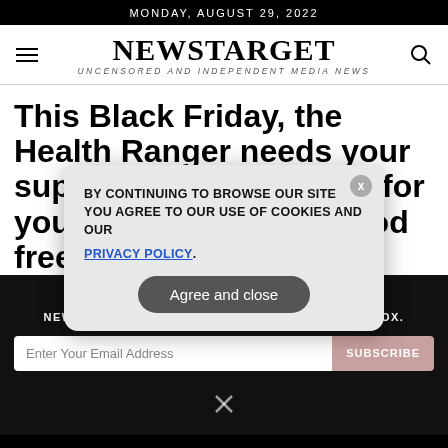MONDAY, AUGUST 29, 2022
NEWSTARGET
UNCENSORED AND INDEPENDENT MEDIA NEWS
This Black Friday, the Health Ranger needs your support as we go to bat for your health freedom, food freedom and
GET THE WORLD'S BEST INDEPENDENT MEDIA NEWSLETTER DELIVERED STRAIGHT TO YOUR INBOX.
BY CONTINUING TO BROWSE OUR SITE YOU AGREE TO OUR USE OF COOKIES AND OUR PRIVACY POLICY.
Agree and close